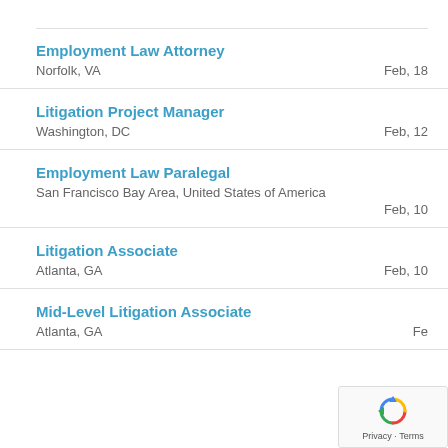Employment Law Attorney
Norfolk, VA
Feb, 18
Litigation Project Manager
Washington, DC
Feb, 12
Employment Law Paralegal
San Francisco Bay Area, United States of America
Feb, 10
Litigation Associate
Atlanta, GA
Feb, 10
Mid-Level Litigation Associate
Atlanta, GA
Fe...